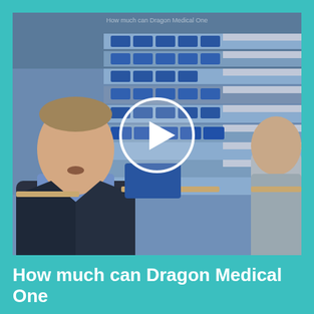[Figure (screenshot): Video thumbnail showing two men seated in a lecture hall with blue auditorium chairs. A large white play button circle is overlaid in the center of the image. The man on the left is wearing a dark jacket over a blue shirt and appears to be speaking. The man on the right is wearing a grey jacket. The background shows rows of blue lecture hall seating on stepped levels.]
How much can Dragon Medical One